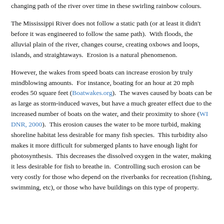changing path of the river over time in these swirling rainbow colours.
The Mississippi River does not follow a static path (or at least it didn't before it was engineered to follow the same path).  With floods, the alluvial plain of the river, changes course, creating oxbows and loops, islands, and straightaways.  Erosion is a natural phenomenon.
However, the wakes from speed boats can increase erosion by truly mindblowing amounts.  For instance, boating for an hour at 20 mph erodes 50 square feet (Boatwakes.org).  The waves caused by boats can be as large as storm-induced waves, but have a much greater effect due to the increased number of boats on the water, and their proximity to shore (WI DNR, 2000).  This erosion causes the water to be more turbid, making shoreline habitat less desirable for many fish species.  This turbidity also makes it more difficult for submerged plants to have enough light for photosynthesis.  This decreases the dissolved oxygen in the water, making it less desirable for fish to breathe in.  Controlling such erosion can be very costly for those who depend on the riverbanks for recreation (fishing, swimming, etc), or those who have buildings on this type of property.